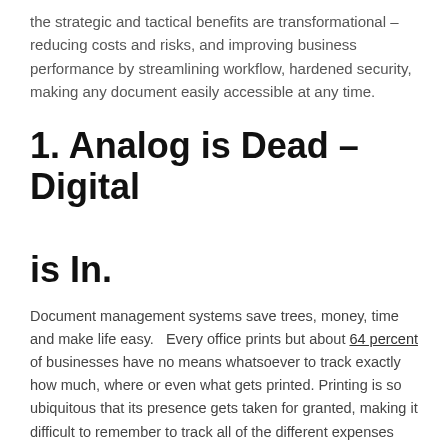the strategic and tactical benefits are transformational – reducing costs and risks, and improving business performance by streamlining workflow, hardened security, making any document easily accessible at any time.
1. Analog is Dead – Digital is In.
Document management systems save trees, money, time and make life easy.  Every office prints but about 64 percent of businesses have no means whatsoever to track exactly how much, where or even what gets printed. Printing is so ubiquitous that its presence gets taken for granted, making it difficult to remember to track all of the different expenses which go into creating documents: